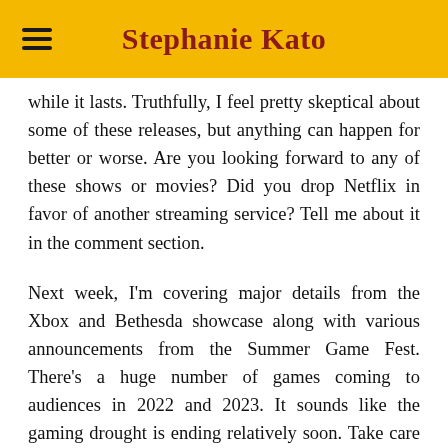Stephanie Kato
while it lasts. Truthfully, I feel pretty skeptical about some of these releases, but anything can happen for better or worse. Are you looking forward to any of these shows or movies? Did you drop Netflix in favor of another streaming service? Tell me about it in the comment section.
Next week, I'm covering major details from the Xbox and Bethesda showcase along with various announcements from the Summer Game Fest. There's a huge number of games coming to audiences in 2022 and 2023. It sounds like the gaming drought is ending relatively soon. Take care of yourselves and come back again next week. See you later!